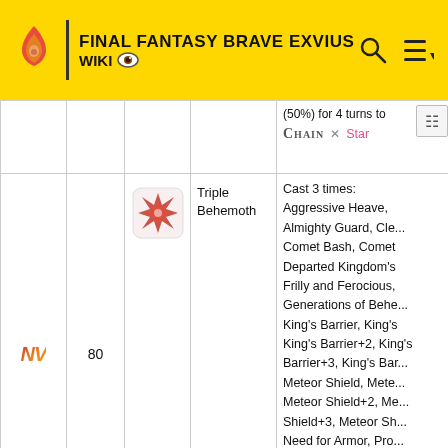FINAL FANTASY BRAVE EXVIUS WIKI
| Rarity | Level | Image | Name | Skills |
| --- | --- | --- | --- | --- |
|  |  |  |  | (50%) for 4 turns to... Chain X Star... |
| NV | 80 | [Triple Behemoth image] | Triple Behemoth | Cast 3 times: Aggressive Heave, Almighty Guard, Cle... Comet Bash, Comet... Departed Kingdom's... Frilly and Ferocious, Generations of Behe... King's Barrier, King's... King's Barrier+2, King's Barrier+3, King's Ba... Meteor Shield, Mete... Meteor Shield+2, Me... Shield+3, Meteor Sh... Need for Armor, Pro... Weak!, Quake Aura,... |
|  |  |  |  |  |